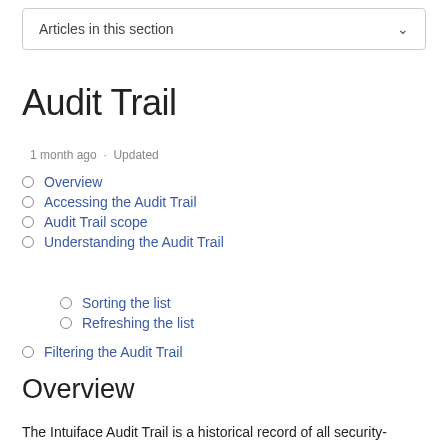Articles in this section
Audit Trail
1 month ago · Updated
Overview
Accessing the Audit Trail
Audit Trail scope
Understanding the Audit Trail
Sorting the list
Refreshing the list
Filtering the Audit Trail
Overview
The Intuiface Audit Trail is a historical record of all security-